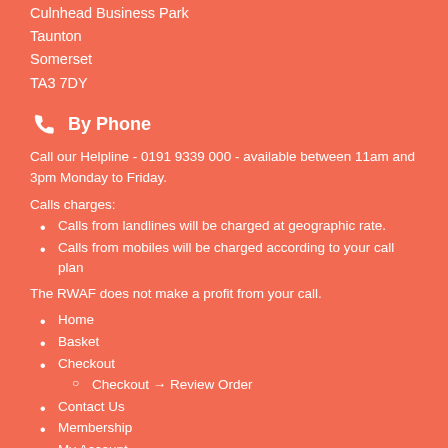Culnhead Business Park
Taunton
Somerset
TA3 7DY
By Phone
Call our Helpline - 0191 9339 000 - available between 11am and 3pm Monday to Friday.
Calls charges:
Calls from landlines will be charged at geographic rate.
Calls from mobiles will be charged according to your call plan
The RWAF does not make a profit from your call.
Home
Basket
Checkout
Checkout → Review Order
Contact Us
Membership
My Account